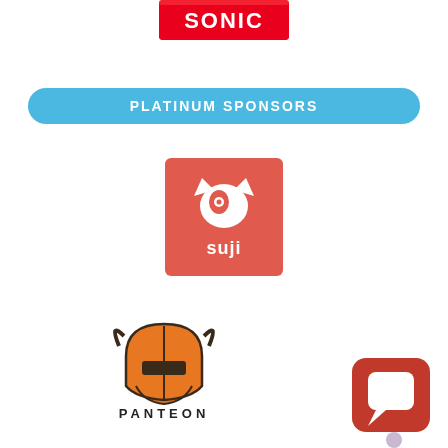[Figure (logo): Sonic logo - red background with white 'SONIC' text in bold retro style]
PLATINUM SPONSORS
[Figure (logo): Suji logo - red/coral square background with white cat-like icon and 'suji' text below in white]
[Figure (logo): Panteon logo - orange bull/warrior helmet icon with 'PANTEON' text below in black]
[Figure (logo): Red square chat bubble icon with white speech bubble, bottom right corner]